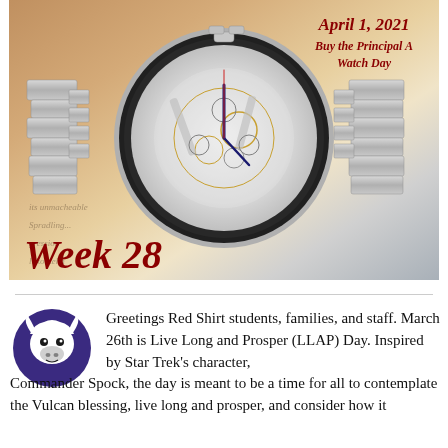[Figure (photo): Skeleton chronograph watch on paper background with date 'April 1, 2021 Buy the Principal A Watch Day' in red italic text top right, and 'Week 28' in red italic bold text bottom left]
Greetings Red Shirt students, families, and staff. March 26th is Live Long and Prosper (LLAP) Day. Inspired by Star Trek's character, Commander Spock, the day is meant to be a time for all to contemplate the Vulcan blessing, live long and prosper, and consider how it